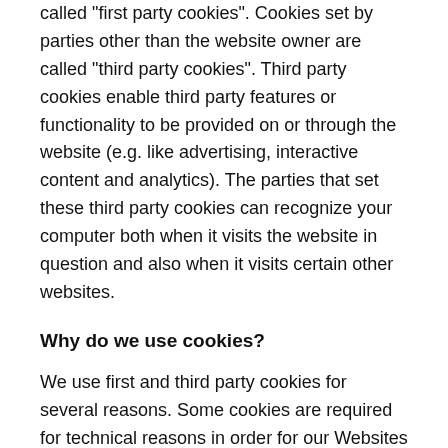called "first party cookies". Cookies set by parties other than the website owner are called "third party cookies". Third party cookies enable third party features or functionality to be provided on or through the website (e.g. like advertising, interactive content and analytics). The parties that set these third party cookies can recognize your computer both when it visits the website in question and also when it visits certain other websites.
Why do we use cookies?
We use first and third party cookies for several reasons. Some cookies are required for technical reasons in order for our Websites to operate, and we refer to these as "essential" or "strictly